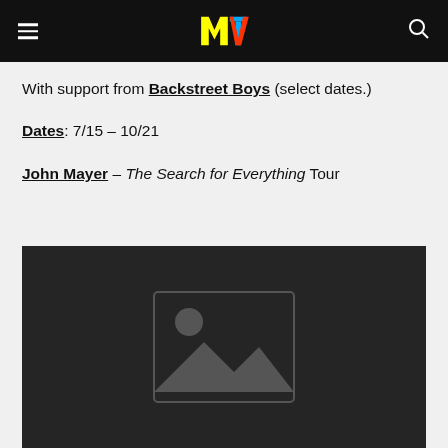MTV logo header with hamburger menu and search icon
With support from Backstreet Boys (select dates.)
Dates: 7/15 – 10/21
John Mayer – The Search for Everything Tour
[Figure (photo): Dark image placeholder with generic image icon (mountain/landscape placeholder graphic)]